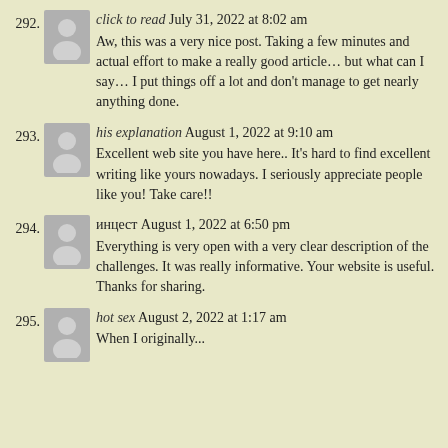292. click to read July 31, 2022 at 8:02 am
Aw, this was a very nice post. Taking a few minutes and actual effort to make a really good article… but what can I say… I put things off a lot and don't manage to get nearly anything done.
293. his explanation August 1, 2022 at 9:10 am
Excellent web site you have here.. It's hard to find excellent writing like yours nowadays. I seriously appreciate people like you! Take care!!
294. инцест August 1, 2022 at 6:50 pm
Everything is very open with a very clear description of the challenges. It was really informative. Your website is useful. Thanks for sharing.
295. hot sex August 2, 2022 at 1:17 am
When I originally...